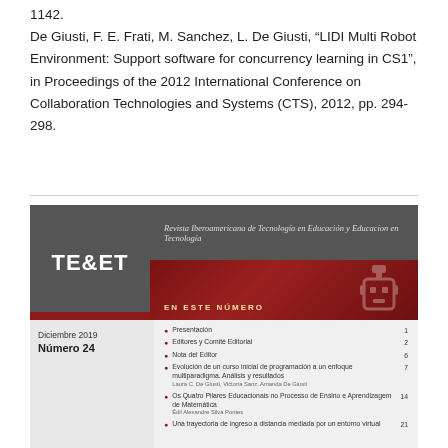1142.
De Giusti, F. E. Frati, M. Sanchez, L. De Giusti, “LIDI Multi Robot Environment: Support software for concurrency learning in CS1”, in Proceedings of the 2012 International Conference on Collaboration Technologies and Systems (CTS), 2012, pp. 294-298.
[Figure (other): TE&ET journal cover image showing the journal header banner with title 'Revista Iberoamericana de Tecnología en Educación y Educacion en Tecnología', a red decorative background, 'EN ESTE NÚMERO' label, and a table of contents section for Diciembre 2019 Número 24 listing articles including Presentación, Editores y Comité Editorial, Nota del Editor, and several article titles.]